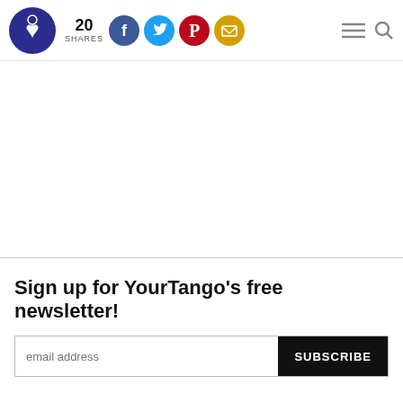20 SHARES — YourTango logo with social sharing icons (Facebook, Twitter, Pinterest, Email) and navigation icons
[Figure (other): Large white/blank content area, likely an embedded article image or ad placeholder]
Sign up for YourTango's free newsletter!
email address [input field] SUBSCRIBE [button]